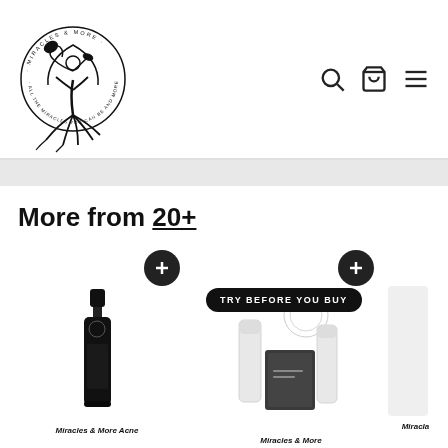[Figure (logo): Miracles & More circular logo with tree and figure, text 'ALL THE MIRACLES YOU CAN BE AND MORE']
More from 20+
[Figure (photo): Black cylindrical serum/spray bottle with Miracles & More branding]
[Figure (photo): Miracles & More skincare set with 'TRY BEFORE YOU BUY' badge, showing white tubes and dark box]
Miracles & More Acne
Miracles & More
Miracla